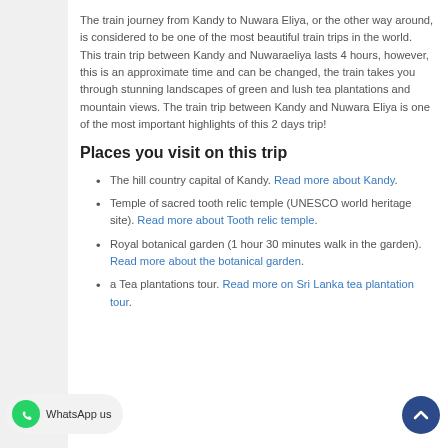The train journey from Kandy to Nuwara Eliya, or the other way around, is considered to be one of the most beautiful train trips in the world. This train trip between Kandy and Nuwaraeliya lasts 4 hours, however, this is an approximate time and can be changed, the train takes you through stunning landscapes of green and lush tea plantations and mountain views. The train trip between Kandy and Nuwara Eliya is one of the most important highlights of this 2 days trip!
Places you visit on this trip
The hill country capital of Kandy. Read more about Kandy.
Temple of sacred tooth relic temple (UNESCO world heritage site). Read more about Tooth relic temple.
Royal botanical garden (1 hour 30 minutes walk in the garden). Read more about the botanical garden.
a Tea plantations tour. Read more on Sri Lanka tea plantation tour.